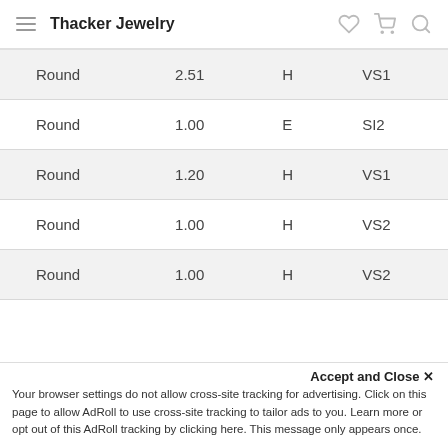Thacker Jewelry
| Shape | Carat | Color | Clarity |
| --- | --- | --- | --- |
| Round | 2.51 | H | VS1 |
| Round | 1.00 | E | SI2 |
| Round | 1.20 | H | VS1 |
| Round | 1.00 | H | VS2 |
| Round | 1.00 | H | VS2 |
| Round | 1.20 | H | VS1 |
| Round | 1.01 | G | SI1 |
| Round | 1.00 | I | SI1 |
Accept and Close ✕
Your browser settings do not allow cross-site tracking for advertising. Click on this page to allow AdRoll to use cross-site tracking to tailor ads to you. Learn more or opt out of this AdRoll tracking by clicking here. This message only appears once.